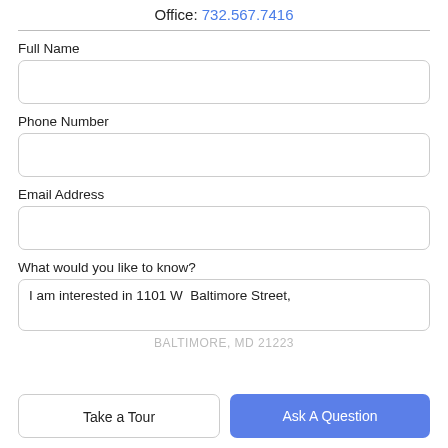Office: 732.567.7416
Full Name
Phone Number
Email Address
What would you like to know?
I am interested in 1101 W  Baltimore Street,
BALTIMORE, MD 21223
Take a Tour
Ask A Question